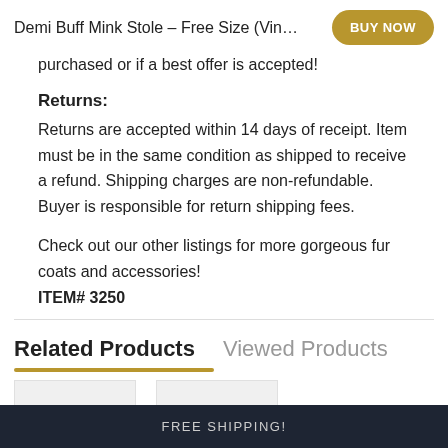Demi Buff Mink Stole - Free Size (Vin…  BUY NOW
purchased or if a best offer is accepted!
Returns:
Returns are accepted within 14 days of receipt. Item must be in the same condition as shipped to receive a refund. Shipping charges are non-refundable. Buyer is responsible for return shipping fees.
Check out our other listings for more gorgeous fur coats and accessories!
ITEM# 3250
Related Products   Viewed Products
FREE SHIPPING!